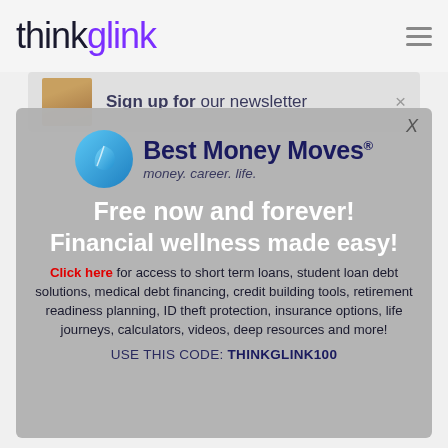thinkglink
Sign up for our newsletter
[Figure (logo): Best Money Moves logo — blue circular leaf icon with text 'Best Money Moves® money. career. life.']
Free now and forever! Financial wellness made easy!
Click here for access to short term loans, student loan debt solutions, medical debt financing, credit building tools, retirement readiness planning, ID theft protection, insurance options, life journeys, calculators, videos, deep resources and more!
USE THIS CODE: THINKGLINK100